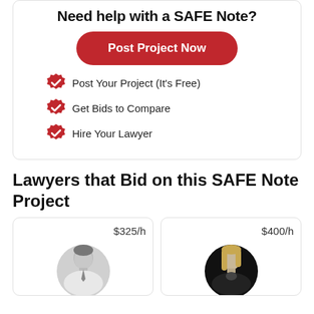Need help with a SAFE Note?
Post Project Now
Post Your Project (It's Free)
Get Bids to Compare
Hire Your Lawyer
Lawyers that Bid on this SAFE Note Project
[Figure (photo): Male lawyer profile photo in black and white, wearing suit and tie, smiling. Rate shown: $325/h]
[Figure (photo): Female lawyer profile photo in black and white against dark background, wearing dark jacket. Rate shown: $400/h]